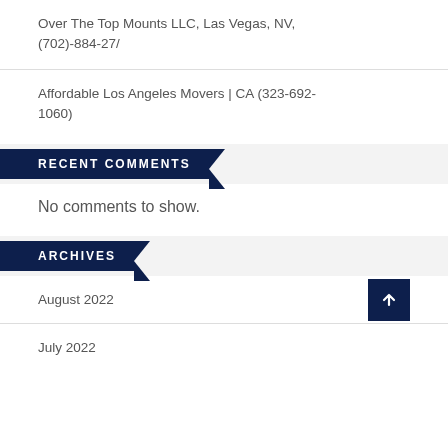Over The Top Mounts LLC, Las Vegas, NV, (702)-884-27/
Affordable Los Angeles Movers | CA (323-692-1060)
RECENT COMMENTS
No comments to show.
ARCHIVES
August 2022
July 2022